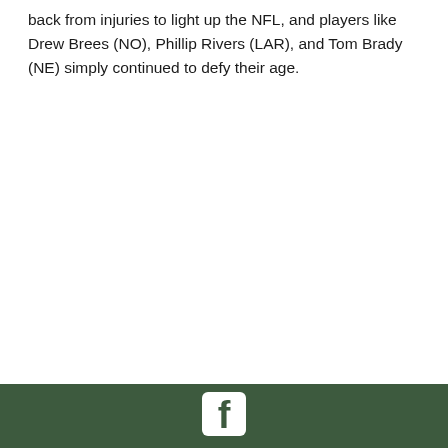back from injuries to light up the NFL, and players like Drew Brees (NO), Phillip Rivers (LAR), and Tom Brady (NE) simply continued to defy their age.
[Figure (logo): Facebook logo icon in white on dark green footer bar]